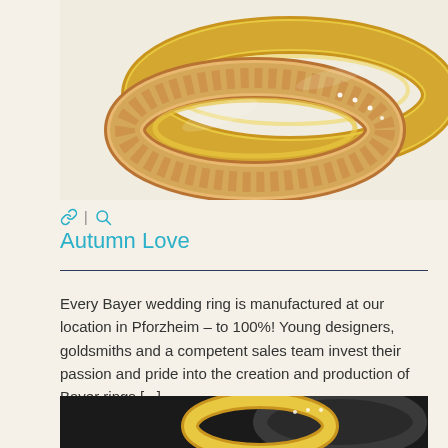[Figure (photo): Two gold wedding rings with rose gold leaf engravings and diamond accents, photographed on a cream/beige background]
🔗 | 🔍
Autumn Love
Every Bayer wedding ring is manufactured at our location in Pforzheim – to 100%! Young designers, goldsmiths and a competent sales team invest their passion and pride into the creation and production of Bayer rings [...]
[Figure (photo): Close-up of dark/black and gold wedding rings or jewelry with diamond accents]